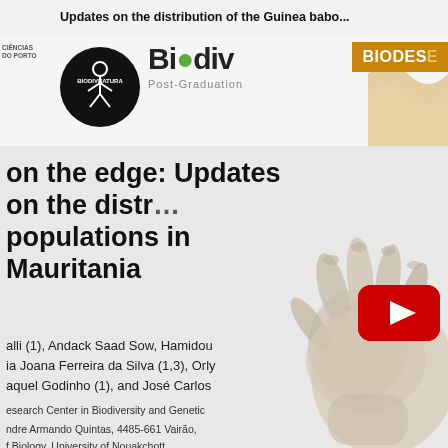Updates on the distribution of the Guinea babo...
[Figure (logo): Logos: CIÊNCIAS DO PORTO, BiodivNatura (black circle), Biodiv Post-Graduation, BIODESERT]
on the edge: Updates on the distr... populations in Mauritania
alli (1), Andack Saad Sow, Hamidou
ia Joana Ferreira da Silva (1,3), Orly
aquel Godinho (1), and José Carlos
esearch Center in Biodiversity and Genetic
ndre Armando Quintas, 4485-661 Vairão,
f Biology, University of Nouakchott
[Figure (illustration): Illustration of a Guinea baboon hand/paw in beige tones on the right side of the page]
[Figure (logo): YouTube play button icon (red rounded rectangle with white triangle)]